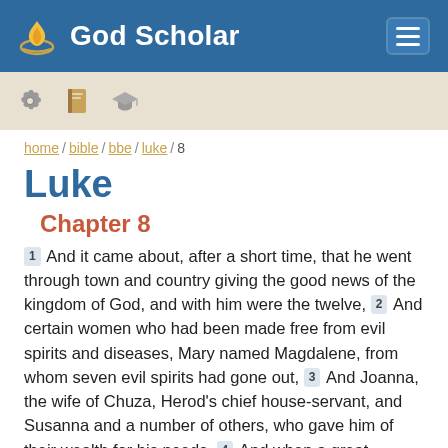God Scholar
home / bible / bbe / luke / 8
Luke
Chapter 8
1 And it came about, after a short time, that he went through town and country giving the good news of the kingdom of God, and with him were the twelve, 2 And certain women who had been made free from evil spirits and diseases, Mary named Magdalene, from whom seven evil spirits had gone out, 3 And Joanna, the wife of Chuza, Herod's chief house-servant, and Susanna and a number of others, who gave him of their wealth for his needs. 4 And when a great number of people came together, and men